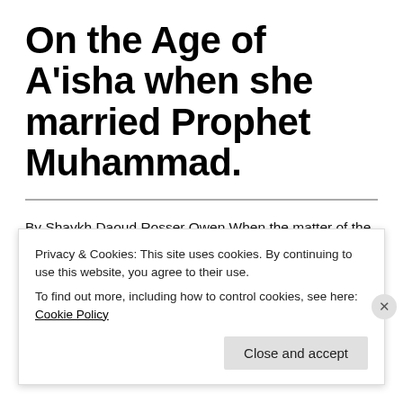On the Age of A'isha when she married Prophet Muhammad.
By Shaykh Daoud Rosser Owen When the matter of the Prophet's marriage to A'isha bint Abi Bakr came up some years ago, I asked an American scholar to provide a bullet-point statement about it (he'd just uploaded something like it onto an
Privacy & Cookies: This site uses cookies. By continuing to use this website, you agree to their use.
To find out more, including how to control cookies, see here: Cookie Policy